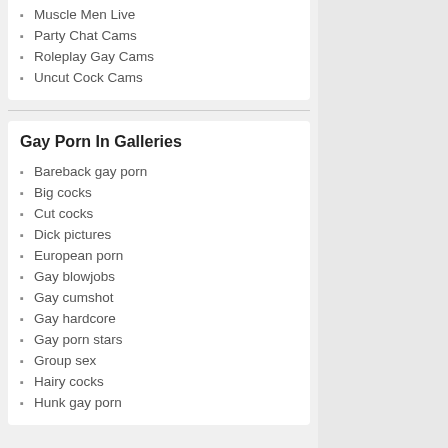Muscle Men Live
Party Chat Cams
Roleplay Gay Cams
Uncut Cock Cams
Gay Porn In Galleries
Bareback gay porn
Big cocks
Cut cocks
Dick pictures
European porn
Gay blowjobs
Gay cumshot
Gay hardcore
Gay porn stars
Group sex
Hairy cocks
Hunk gay porn